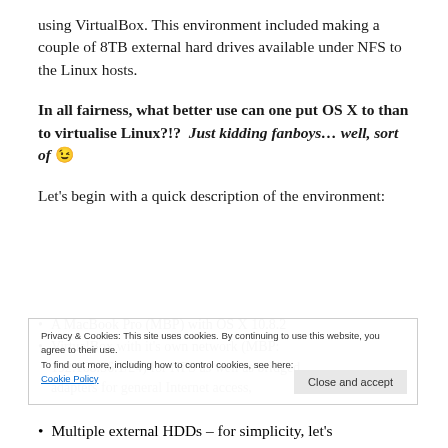using VirtualBox. This environment included making a couple of 8TB external hard drives available under NFS to the Linux hosts.
In all fairness, what better use can one put OS X to than to virtualise Linux?!?  Just kidding fanboys… well, sort of 😉
Let's begin with a quick description of the environment:
Privacy & Cookies: This site uses cookies. By continuing to use this website, you agree to their use.
To find out more, including how to control cookies, see here: Cookie Policy
A MacBook Pro (MBP) with OS X 10.8.2
VirtualBox with it's own network (MBP: 192.168.56.1/24) for NFS as well as bridged adapters for general Internet access,
Multiple external HDDs – for simplicity, let's